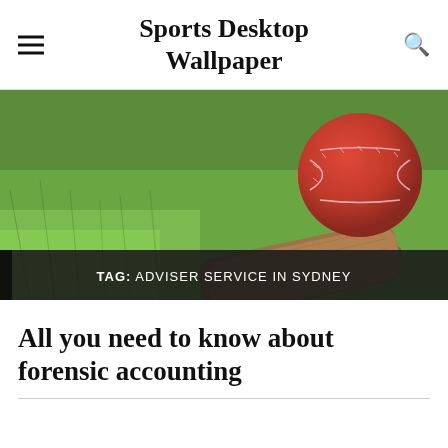Sports Desktop Wallpaper
[Figure (photo): Close-up of a red cricket ball resting on a wooden cricket bat lying on green grass.]
TAG: ADVISER SERVICE IN SYDNEY
All you need to know about forensic accounting